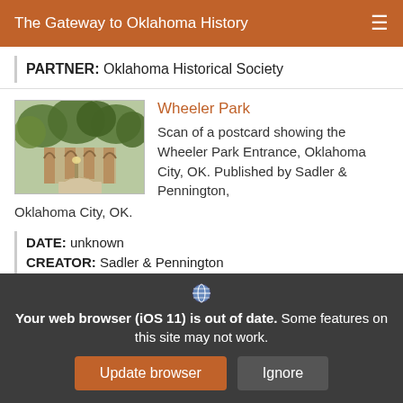The Gateway to Oklahoma History
PARTNER: Oklahoma Historical Society
Wheeler Park
[Figure (photo): Scan of a postcard showing the Wheeler Park Entrance, Oklahoma City, OK.]
Scan of a postcard showing the Wheeler Park Entrance, Oklahoma City, OK. Published by Sadler & Pennington, Oklahoma City, OK.
DATE: unknown
CREATOR: Sadler & Pennington
Your web browser (iOS 11) is out of date. Some features on this site may not work.